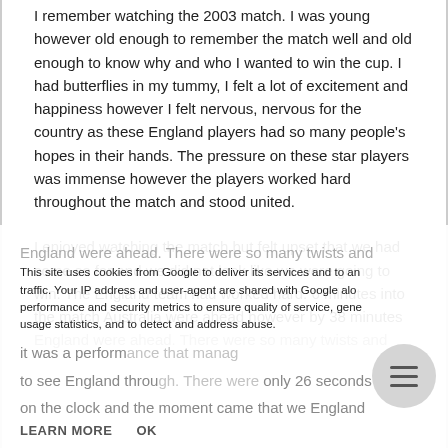I remember watching the 2003 match. I was young however old enough to remember the match well and old enough to know why and who I wanted to win the cup. I had butterflies in my tummy, I felt a lot of excitement and happiness however I felt nervous, nervous for the country as these England players had so many people's hopes in their hands. The pressure on these star players was immense however the players worked hard throughout the match and stood united.
I enjoyed watching the match but felt upset that we had come so far and we did not look like we were going to win. The England team had worked hard. 6 minutes into the match Australia were ahead however by 38 minutes England were ahead. There were so many twists and turns, it was a performance that managed to see England through. There were only 26 seconds left on the clock and the moment came that we England...
This site uses cookies from Google to deliver its services and to analyze traffic. Your IP address and user-agent are shared with Google along with performance and security metrics to ensure quality of service, generate usage statistics, and to detect and address abuse.